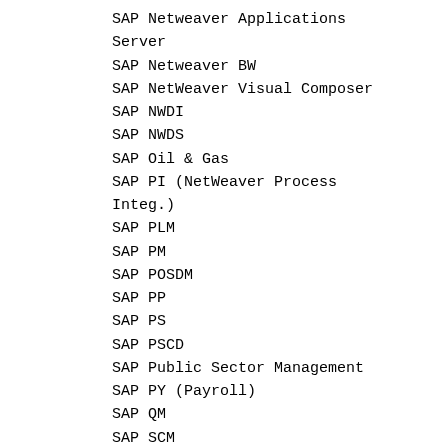SAP Netweaver Applications Server
SAP Netweaver BW
SAP NetWeaver Visual Composer
SAP NWDI
SAP NWDS
SAP Oil & Gas
SAP PI (NetWeaver Process Integ.)
SAP PLM
SAP PM
SAP POSDM
SAP PP
SAP PS
SAP PSCD
SAP Public Sector Management
SAP PY (Payroll)
SAP QM
SAP SCM
SAP SD